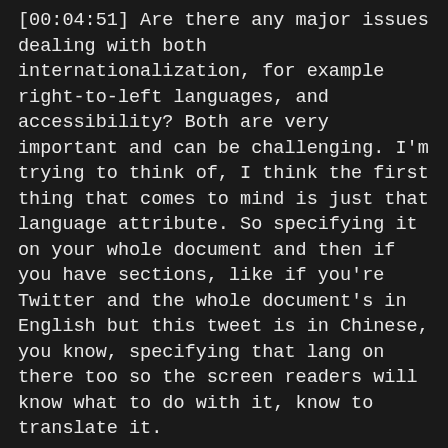[00:04:51] Are there any major issues dealing with both internationalization, for example right-to-left languages, and accessibility? Both are very important and can be challenging. I'm trying to think of, I think the first thing that comes to mind is just that language attribute. So specifying it on your whole document and then if you have sections, like if you're Twitter and the whole document's in English but this tweet is in Chinese, you know, specifying that lang on there too so the screen readers will know what to do with it, know to translate it.
[00:05:23] I can't really think of major, internationalization can be really hard to work with from a design standpoint. If you're used to strings that are ten characters long, and then you switch to a language where they're super long and they break things. But I can't think of